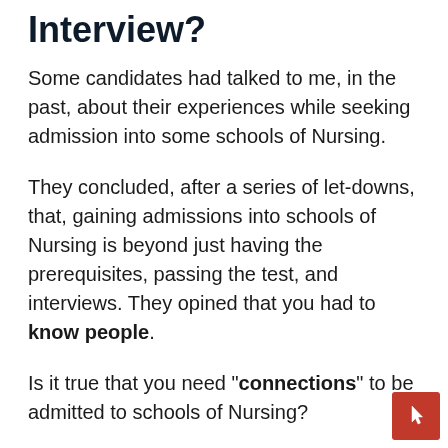Interview?
Some candidates had talked to me, in the past, about their experiences while seeking admission into some schools of Nursing.
They concluded, after a series of let-downs, that, gaining admissions into schools of Nursing is beyond just having the prerequisites, passing the test, and interviews. They opined that you had to know people.
Is it true that you need "connections" to be admitted to schools of Nursing?
The answer to the question above is YES and NO.
It's NO because, for every school, there will be